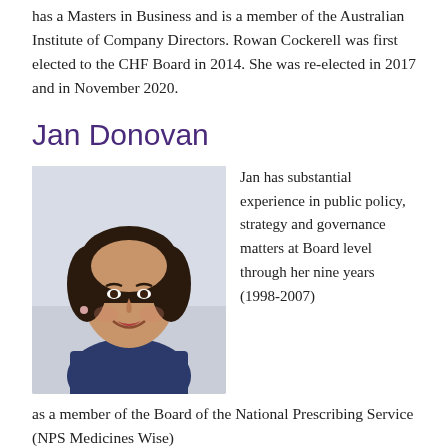has a Masters in Business and is a member of the Australian Institute of Company Directors. Rowan Cockerell was first elected to the CHF Board in 2014. She was re-elected in 2017 and in November 2020.
Jan Donovan
[Figure (photo): Portrait photo of Jan Donovan, a woman with short dark hair wearing a dark blazer, smiling, against a light background.]
Jan has substantial experience in public policy, strategy and governance matters at Board level through her nine years (1998-2007) as a member of the Board of the National Prescribing Service (NPS Medicines Wise).